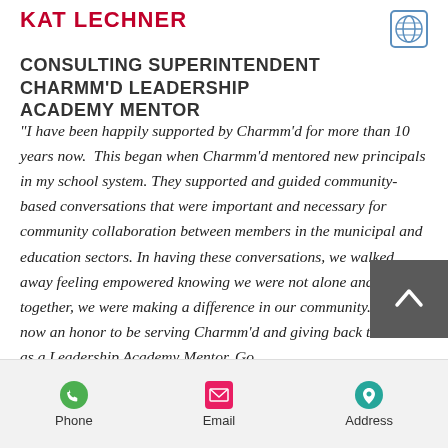KAT LECHNER
CONSULTING SUPERINTENDENT
CHARMM'D LEADERSHIP ACADEMY MENTOR
“I have been happily supported by Charmm’d for more than 10 years now.  This began when Charmm’d mentored new principals in my school system. They supported and guided community-based conversations that were important and necessary for community collaboration between members in the municipal and education sectors. In having these conversations, we walked away feeling empowered knowing we were not alone and that together, we were making a difference in our community. It is now an honor to be serving Charmm’d and giving back to others as a Leadership Academy Mentor. Go
Phone  Email  Address